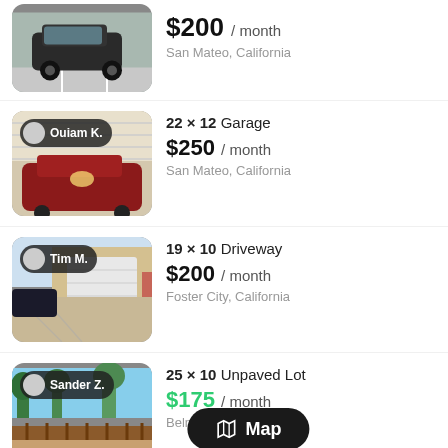[Figure (photo): Dark SUV in parking lot thumbnail]
$200 / month
San Mateo, California
[Figure (photo): Red car in garage with host badge 'Ouiam K.']
22 × 12 Garage
$250 / month
San Mateo, California
[Figure (photo): Driveway with garage door and host badge 'Tim M.']
19 × 10 Driveway
$200 / month
Foster City, California
[Figure (photo): Unpaved lot with fence and host badge 'Sander Z.']
25 × 10 Unpaved Lot
$175 / month
Belmont, California
[Figure (other): Map button overlay at bottom]